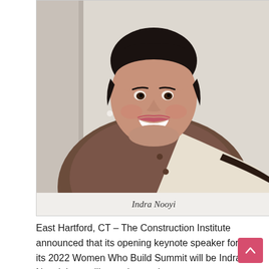[Figure (photo): Portrait photo of Indra Nooyi, a woman with short dark hair, smiling broadly, wearing a brown jacket with cream and black accents, photographed against a light background.]
Indra Nooyi
East Hartford, CT – The Construction Institute announced that its opening keynote speaker for its 2022 Women Who Build Summit will be Indra Nooyi, bestselling author and